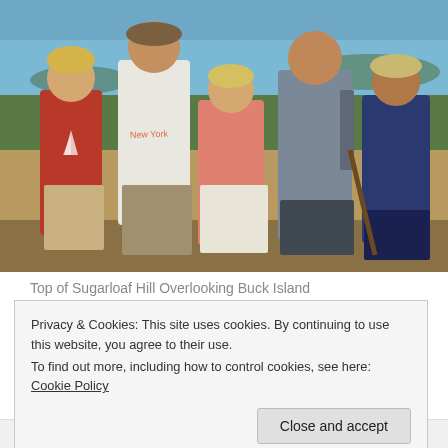[Figure (photo): Five people standing on top of Sugarloaf Hill overlooking Buck Island. From left: a woman in a red shirt and khaki shorts, a tall man in a white New York t-shirt and cap, a woman in a pink top and white shorts, a tall man in a gray shirt with a backpack, and an older man in a navy shirt and beige cap. Ocean and island visible in background.]
Top of Sugarloaf Hill Overlooking Buck Island
Privacy & Cookies: This site uses cookies. By continuing to use this website, you agree to their use.
To find out more, including how to control cookies, see here: Cookie Policy